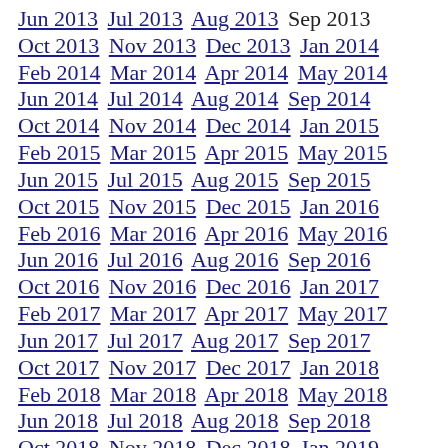Jun 2013 Jul 2013 Aug 2013 Sep 2013 Oct 2013 Nov 2013 Dec 2013 Jan 2014 Feb 2014 Mar 2014 Apr 2014 May 2014 Jun 2014 Jul 2014 Aug 2014 Sep 2014 Oct 2014 Nov 2014 Dec 2014 Jan 2015 Feb 2015 Mar 2015 Apr 2015 May 2015 Jun 2015 Jul 2015 Aug 2015 Sep 2015 Oct 2015 Nov 2015 Dec 2015 Jan 2016 Feb 2016 Mar 2016 Apr 2016 May 2016 Jun 2016 Jul 2016 Aug 2016 Sep 2016 Oct 2016 Nov 2016 Dec 2016 Jan 2017 Feb 2017 Mar 2017 Apr 2017 May 2017 Jun 2017 Jul 2017 Aug 2017 Sep 2017 Oct 2017 Nov 2017 Dec 2017 Jan 2018 Feb 2018 Mar 2018 Apr 2018 May 2018 Jun 2018 Jul 2018 Aug 2018 Sep 2018 Oct 2018 Nov 2018 Dec 2018 Jan 2019 Feb 2019 Mar 2019 Apr 2019 May 2019 Jun 2019 Jul 2019 Aug 2019